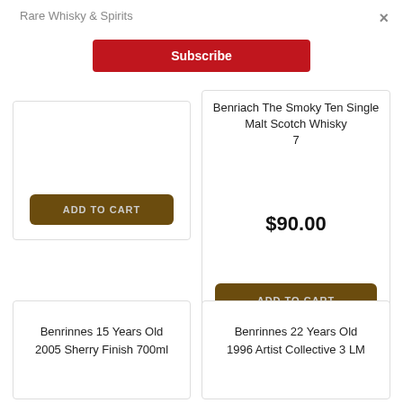Rare Whisky & Spirits
×
Subscribe
[Figure (screenshot): Partially visible product card with a brown Add to Cart button]
Benriach The Smoky Ten Single Malt Scotch Whisky 7
$90.00
ADD TO CART
Benrinnes 15 Years Old 2005 Sherry Finish 700ml
Benrinnes 22 Years Old 1996 Artist Collective 3 LM